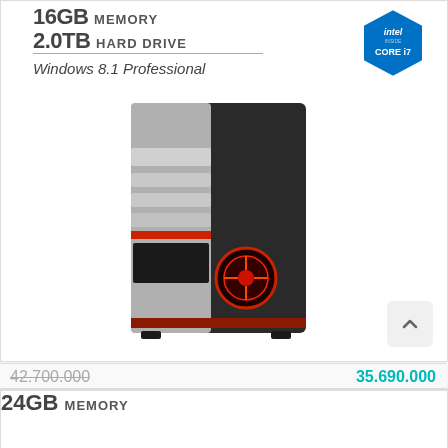[Figure (photo): Desktop PC tower with black and silver case, red LED fan, displayed with spec text overlay showing 16GB Memory, 2.0TB Hard Drive, Windows 8.1 Professional, and Intel Core i7 badge]
16GB MEMORY
2.0TB HARD DRIVE
Windows 8.1 Professional
42.700.000
35.690.000
24GB MEMORY
[Figure (logo): Intel Core i7 badge logo (blue hexagon)]
[Figure (logo): Intel Core i7 badge logo (second product, yellow/green)]